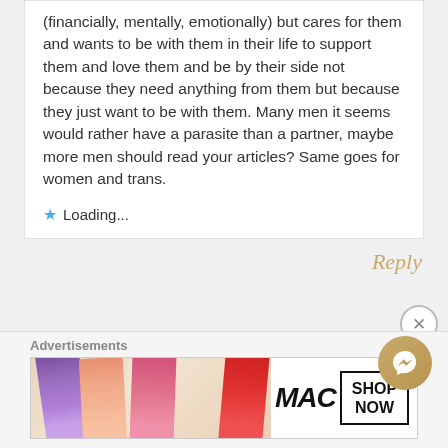(financially, mentally, emotionally) but cares for them and wants to be with them in their life to support them and love them and be by their side not because they need anything from them but because they just want to be with them. Many men it seems would rather have a parasite than a partner, maybe more men should read your articles? Same goes for women and trans.
Loading...
Reply
[Figure (advertisement): MAC cosmetics advertisement showing lipsticks, MAC wordmark logo, and SHOP NOW button]